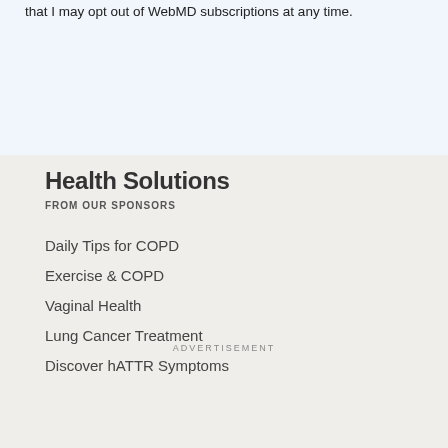that I may opt out of WebMD subscriptions at any time.
Health Solutions
FROM OUR SPONSORS
Daily Tips for COPD
Exercise & COPD
Vaginal Health
Lung Cancer Treatment
Discover hATTR Symptoms
ADVERTISEMENT